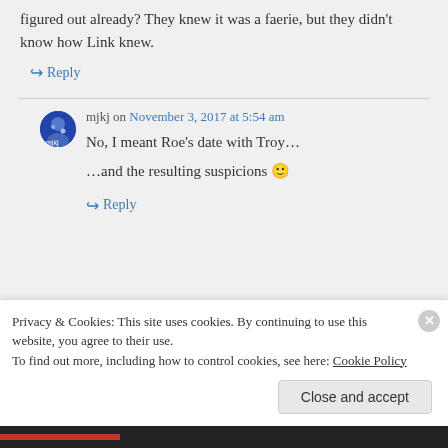figured out already? They knew it was a faerie, but they didn't know how Link knew.
↪ Reply
mjkj on November 3, 2017 at 5:54 am
No, I meant Roe's date with Troy…
…and the resulting suspicions 🙂
↪ Reply
Privacy & Cookies: This site uses cookies. By continuing to use this website, you agree to their use.
To find out more, including how to control cookies, see here: Cookie Policy
Close and accept